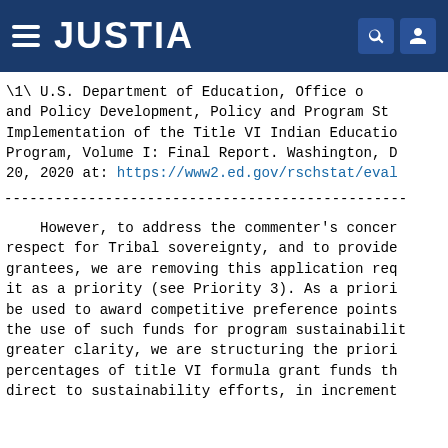JUSTIA
\1\ U.S. Department of Education, Office of and Policy Development, Policy and Program Studies Implementation of the Title VI Indian Education Program, Volume I: Final Report. Washington, D 20, 2020 at: https://www2.ed.gov/rschstat/eval
However, to address the commenter's concern respect for Tribal sovereignty, and to provide grantees, we are removing this application req it as a priority (see Priority 3). As a priori be used to award competitive preference points the use of such funds for program sustainabili greater clarity, we are structuring the priori percentages of title VI formula grant funds th direct to sustainability efforts, in increment